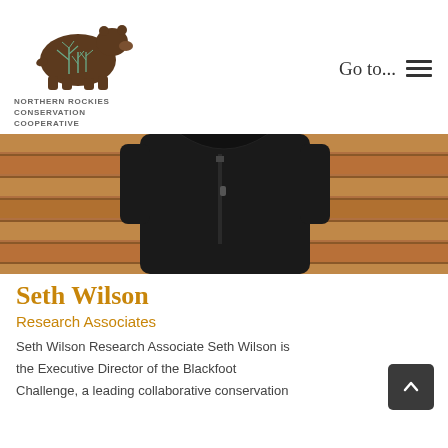[Figure (logo): Northern Rockies Conservation Cooperative logo: brown bear silhouette with tree branch pattern, with organization name text below]
Go to...
[Figure (photo): Photo of Seth Wilson, a person wearing a black zip-up jacket, seated in front of wooden bench slats]
Seth Wilson
Research Associates
Seth Wilson Research Associate Seth Wilson is the Executive Director of the Blackfoot Challenge, a leading collaborative conservation